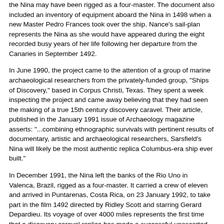the Nina may have been rigged as a four-master. The document also included an inventory of equipment aboard the Nina in 1498 when a new Master Pedro Frances took over the ship. Nance's sail-plan represents the Nina as she would have appeared during the eight recorded busy years of her life following her departure from the Canaries in September 1492.
In June 1990, the project came to the attention of a group of marine archaeological researchers from the privately-funded group, "Ships of Discovery," based in Corpus Christi, Texas. They spent a week inspecting the project and came away believing that they had seen the making of a true 15th century discovery caravel. Their article, published in the January 1991 issue of Archaeology magazine asserts: "...combining ethnographic survivals with pertinent results of documentary, artistic and archaeological researchers, Sarsfield's Nina will likely be the most authentic replica Columbus-era ship ever built."
In December 1991, the Nina left the banks of the Rio Uno in Valenca, Brazil, rigged as a four-master. It carried a crew of eleven and arrived in Puntarenas, Costa Rica, on 23 January 1992, to take part in the film 1492 directed by Ridley Scott and starring Gerard Depardieu. Its voyage of over 4000 miles represents the first time that a discovery caravel replica has made a successful unescorted open ocean passage of any considerable distance.
Since June 1992, Nina has been continually touring and "discovering" new ports. She has visited over 400 ports covering the Atlantic and Pacific Coasts of North, Central, and South America, the Great Lakes, the Missouri River as far northward as Sioux City, the Ohio River, the Tennessee River, the Illinois and Arkansas River as far as Muskogee, Oklahoma, the Mississippi River and the Gulf of Mexico.